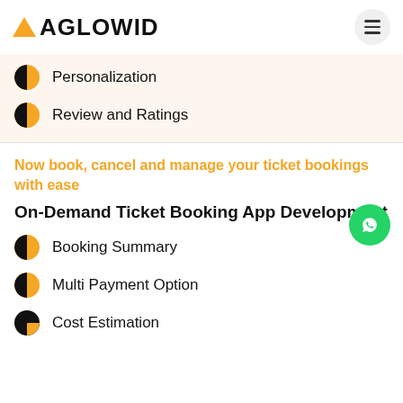AGLOWID
Personalization
Review and Ratings
Now book, cancel and manage your ticket bookings with ease
On-Demand Ticket Booking App Development
Booking Summary
Multi Payment Option
Cost Estimation